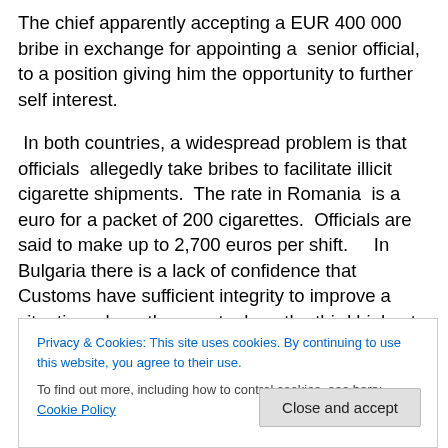The chief apparently accepting a EUR 400 000 bribe in exchange for appointing a  senior official, to a position giving him the opportunity to further self interest.
In both countries, a widespread problem is that officials  allegedly take bribes to facilitate illicit cigarette shipments.  The rate in Romania  is a euro for a packet of 200 cigarettes.  Officials are said to make up to 2,700 euros per shift.    In Bulgaria there is a lack of confidence that Customs have sufficient integrity to improve a situation where the country has  the third highest rate of
Privacy & Cookies: This site uses cookies. By continuing to use this website, you agree to their use.
To find out more, including how to control cookies, see here: Cookie Policy
Close and accept
of  corruption and organised crime.